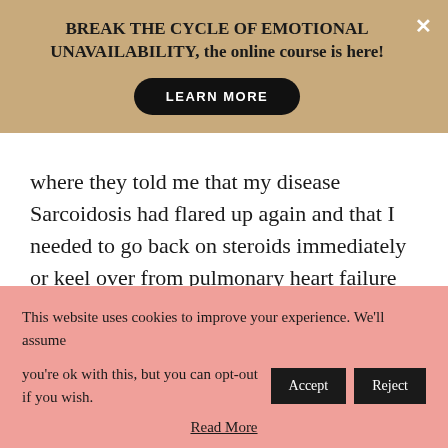[Figure (screenshot): Top promotional banner with tan/khaki background. Bold text: 'BREAK THE CYCLE OF EMOTIONAL UNAVAILABILITY, the online course is here!' with a black 'LEARN MORE' pill button and a white X close button in the top right.]
where they told me that my disease Sarcoidosis had flared up again and that I needed to go back on steroids immediately or keel over from pulmonary heart failure by the time I was 40. I was petrified and almost said yes, but decided to take a chance on me and say a very resounding
[Figure (screenshot): Pink cookie consent banner at the bottom. Text: 'This website uses cookies to improve your experience. We'll assume you're ok with this, but you can opt-out if you wish.' with black 'Accept' and 'Reject' buttons and a 'Read More' underlined link.]